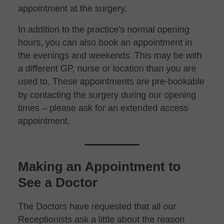appointment at the surgery.
In addition to the practice's normal opening hours, you can also book an appointment in the evenings and weekends. This may be with a different GP, nurse or location than you are used to. These appointments are pre-bookable by contacting the surgery during our opening times – please ask for an extended access appointment.
Making an Appointment to See a Doctor
The Doctors have requested that all our Receptionists ask a little about the reason you'd like a GP appointment. This is so you can be directed to the most appropriate person. Please don't be offended if a